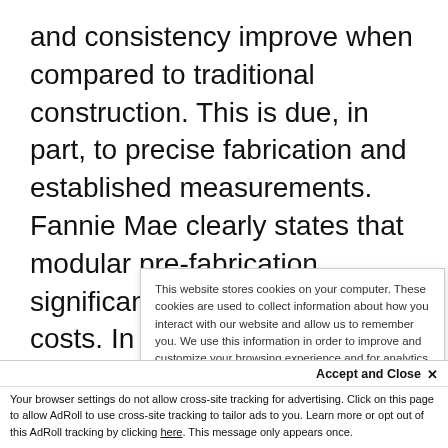and consistency improve when compared to traditional construction. This is due, in part, to precise fabrication and established measurements. Fannie Mae clearly states that modular pre-fabrication significantly reduces rework costs. In fact, “among architects and engineers, improved quality was the most commonly reported benefit.”
This website stores cookies on your computer. These cookies are used to collect information about how you interact with our website and allow us to remember you. We use this information in order to improve and customize your browsing experience and for analytics and metrics about our visitors both on this website and other media. To find out more about the cookies we use, see our Privacy Policy.
Accept and Close ×
Your browser settings do not allow cross-site tracking for advertising. Click on this page to allow AdRoll to use cross-site tracking to tailor ads to you. Learn more or opt out of this AdRoll tracking by clicking here. This message only appears once.